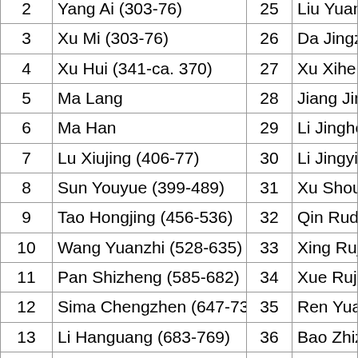| # | Name | # | Name |
| --- | --- | --- | --- |
| 2 | Yang Ai (303-76) | 25 | Liu Yuanming (...) |
| 3 | Xu Mi (303-76) | 26 | Da Jingzhi (...) |
| 4 | Xu Hui (341-ca. 370) | 27 | Xu Xihe (?-1...) |
| 5 | Ma Lang | 28 | Jiang Jingch... |
| 6 | Ma Han | 29 | Li Jinghe (?-... |
| 7 | Lu Xiujing (406-77) | 30 | Li Jingying (...) |
| 8 | Sun Youyue (399-489) | 31 | Xu Shoujing... |
| 9 | Tao Hongjing (456-536) | 32 | Qin Ruda (?... |
| 10 | Wang Yuanzhi (528-635) | 33 | Xing Rujia (...) |
| 11 | Pan Shizheng (585-682) | 34 | Xue Ruji (?-... |
| 12 | Sima Chengzhen (647-735) | 35 | Ren Yuanfu... |
| 13 | Li Hanguang (683-769) | 36 | Bao Zhizhen... |
| 14 | Wei Jingzhao (694-785) | 37 | Tang Zhidao... |
| 15 | Huang Dongyuan (698-792) | 38 | Jiang Zongy... |
| 16 | Sun Zhiqing | 39 | Jing Yuanfa... |
| 17 | Wu Fatong (825-907) | 40 | Liu Zongcha... |